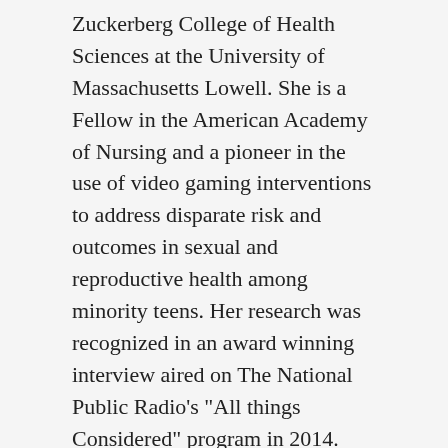Zuckerberg College of Health Sciences at the University of Massachusetts Lowell. She is a Fellow in the American Academy of Nursing and a pioneer in the use of video gaming interventions to address disparate risk and outcomes in sexual and reproductive health among minority teens. Her research was recognized in an award winning interview aired on The National Public Radio's "All things Considered" program in 2014. She has led multiple funded research projects including NIH funded research projects in game development and mHealth research within and outside the United States. Her most recent funded research is a 5-year (2020 to 2025) mHealth project funded be the NIH Eunice Shriver National Institute of Child Health and Human Development. She has served as a peer reviewer in NIH study sections and is an editorial board member of the Journal of the